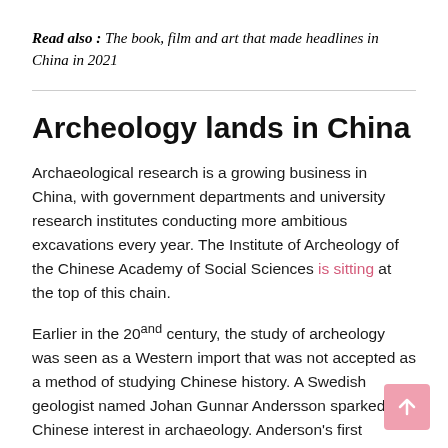Read also : The book, film and art that made headlines in China in 2021
Archeology lands in China
Archaeological research is a growing business in China, with government departments and university research institutes conducting more ambitious excavations every year. The Institute of Archeology of the Chinese Academy of Social Sciences is sitting at the top of this chain.
Earlier in the 20and century, the study of archeology was seen as a Western import that was not accepted as a method of studying Chinese history. A Swedish geologist named Johan Gunnar Andersson sparked Chinese interest in archaeology. Anderson's first expedition eventually led to the discovery of the famous prehistoric fossil of "Peking Man".